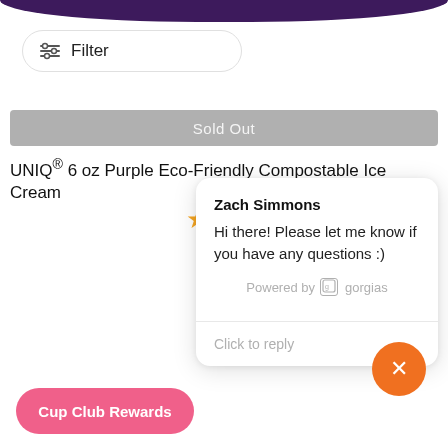[Figure (screenshot): Top purple banner (partially visible, cropped at top)]
Filter
Sold Out
UNIQ® 6 oz Purple Eco-Friendly Compostable Ice Cream
[Figure (screenshot): Chat popup from Zach Simmons saying: Hi there! Please let me know if you have any questions :) Powered by gorgias. Click to reply.]
Cup Club Rewards